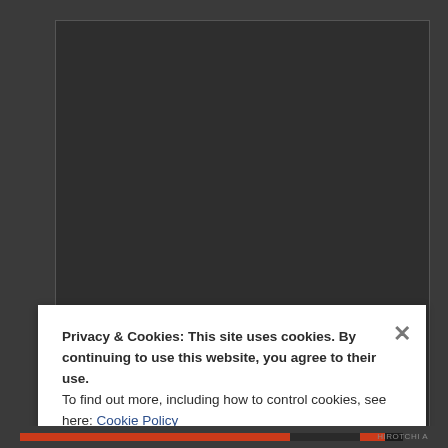[Figure (screenshot): Dark grey textarea/text input box with resize handle in bottom-right corner]
Name
Privacy & Cookies: This site uses cookies. By continuing to use this website, you agree to their use.
To find out more, including how to control cookies, see here: Cookie Policy
Close and accept